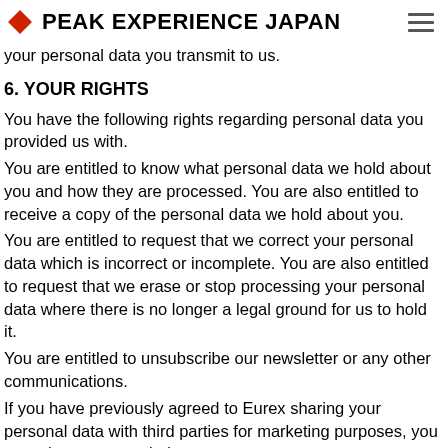PEAK EXPERIENCE JAPAN
your personal data you transmit to us.
6. YOUR RIGHTS
You have the following rights regarding personal data you provided us with.
You are entitled to know what personal data we hold about you and how they are processed. You are also entitled to receive a copy of the personal data we hold about you.
You are entitled to request that we correct your personal data which is incorrect or incomplete. You are also entitled to request that we erase or stop processing your personal data where there is no longer a legal ground for us to hold it.
You are entitled to unsubscribe our newsletter or any other communications.
If you have previously agreed to Eurex sharing your personal data with third parties for marketing purposes, you may change your mind